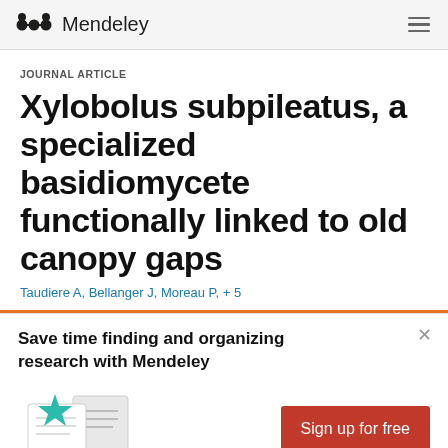Mendeley
JOURNAL ARTICLE
Xylobolus subpileatus, a specialized basidiomycete functionally linked to old canopy gaps
Taudiere A, Bellanger J, Moreau P, ...
Save time finding and organizing research with Mendeley
[Figure (illustration): Illustration of documents with a teal star icon]
Sign up for free